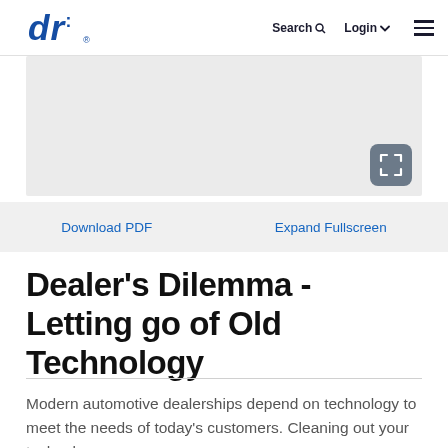DT logo | Search | Login | Menu
[Figure (screenshot): Gray preview/thumbnail area with fullscreen expand icon button in the bottom-right corner]
Download PDF    Expand Fullscreen
Dealer's Dilemma - Letting go of Old Technology
Modern automotive dealerships depend on technology to meet the needs of today's customers. Cleaning out your technology